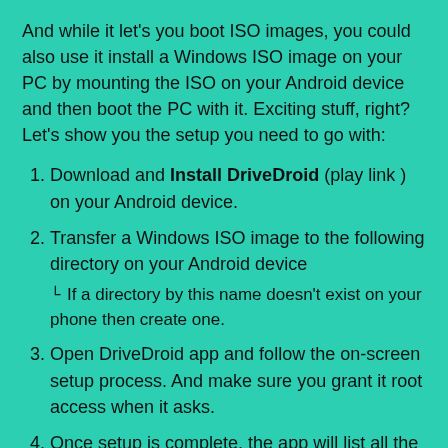And while it let's you boot ISO images, you could also use it install a Windows ISO image on your PC by mounting the ISO on your Android device and then boot the PC with it. Exciting stuff, right? Let's show you the setup you need to go with:
Download and Install DriveDroid (play link ) on your Android device.
Transfer a Windows ISO image to the following directory on your Android device
↳ If a directory by this name doesn't exist on your phone then create one.
Open DriveDroid app and follow the on-screen setup process. And make sure you grant it root access when it asks.
Once setup is complete, the app will list all the .iso images inside /Download/images/ folder on